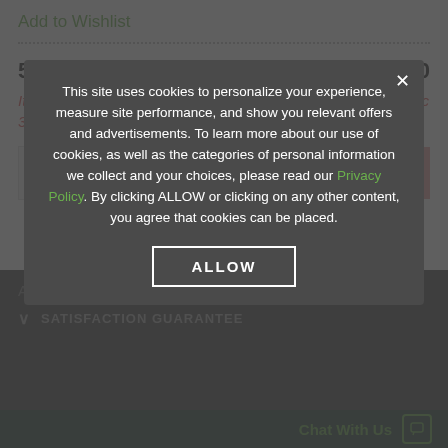Add to Wishlist
5,000 Seeds   $212.90
Item cannot be ordered at this time. Estimated availability Dec 31, 2022
− 0 +  ADD TO CART
Add to Wishlist
This site uses cookies to personalize your experience, measure site performance, and show you relevant offers and advertisements. To learn more about our use of cookies, as well as the categories of personal information we collect and your choices, please read our Privacy Policy. By clicking ALLOW or clicking on any other content, you agree that cookies can be placed.
ALLOW
SATISFACTION GUARANTEE
Chat With Us